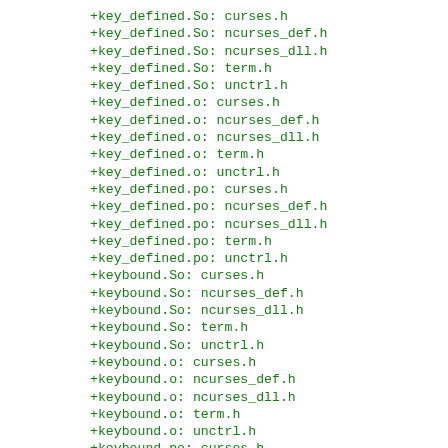+key_defined.So: curses.h
+key_defined.So: ncurses_def.h
+key_defined.So: ncurses_dll.h
+key_defined.So: term.h
+key_defined.So: unctrl.h
+key_defined.o: curses.h
+key_defined.o: ncurses_def.h
+key_defined.o: ncurses_dll.h
+key_defined.o: term.h
+key_defined.o: unctrl.h
+key_defined.po: curses.h
+key_defined.po: ncurses_def.h
+key_defined.po: ncurses_dll.h
+key_defined.po: term.h
+key_defined.po: unctrl.h
+keybound.So: curses.h
+keybound.So: ncurses_def.h
+keybound.So: ncurses_dll.h
+keybound.So: term.h
+keybound.So: unctrl.h
+keybound.o: curses.h
+keybound.o: ncurses_def.h
+keybound.o: ncurses_dll.h
+keybound.o: term.h
+keybound.o: unctrl.h
+keybound.po: curses.h
+keybound.po: ncurses_def.h
+keybound.po: ncurses_dll.h
+keybound.po: term.h
+keybound.po: unctrl.h